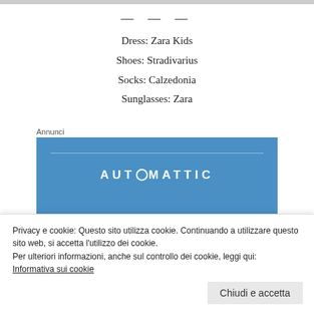— — —
Dress: Zara Kids
Shoes: Stradivarius
Socks: Calzedonia
Sunglasses: Zara
Annunci
[Figure (advertisement): Automattic advertisement banner with blue background, logo 'AUTOMATTIC' with circle O, and tagline 'Love working again.']
Privacy e cookie: Questo sito utilizza cookie. Continuando a utilizzare questo sito web, si accetta l'utilizzo dei cookie.
Per ulteriori informazioni, anche sul controllo dei cookie, leggi qui:
Informativa sui cookie
Chiudi e accetta